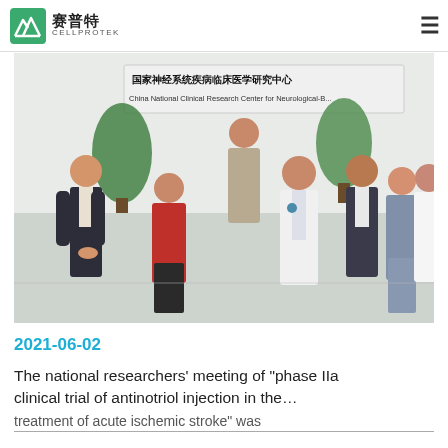赛普特 CELLPROTEK
[Figure (photo): Group photo of seven researchers standing in front of a sign reading 国家神经系统疾病临床医学研究中心 (China National Clinical Research Center for Neurological Diseases). The group includes men and women, some in white lab coats.]
2021-06-02
The national researchers' meeting of "phase IIa clinical trial of antinotriol injection in the… treatment of acute ischemic stroke" was